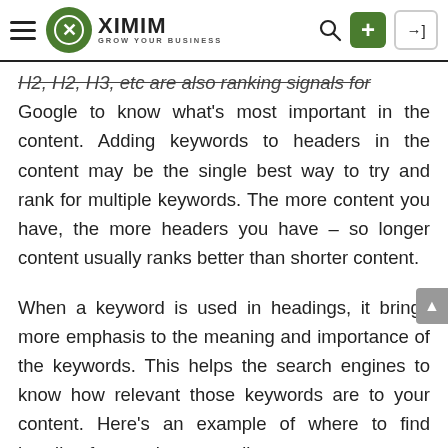XIMIM GROW YOUR BUSINESS
H2, H2, H3, etc are also ranking signals for Google to know what's most important in the content. Adding keywords to headers in the content may be the single best way to try and rank for multiple keywords. The more content you have, the more headers you have – so longer content usually ranks better than shorter content.
When a keyword is used in headings, it brings more emphasis to the meaning and importance of the keywords. This helps the search engines to know how relevant those keywords are to your content. Here's an example of where to find heading formats in a text editor: